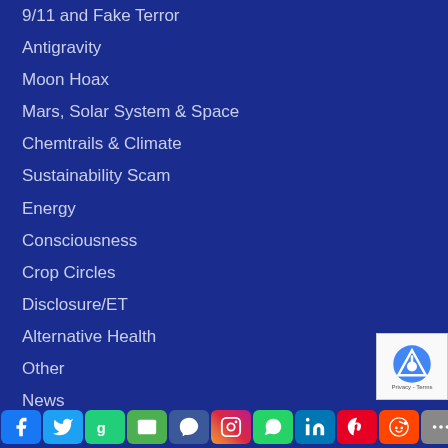9/11 and Fake Terror
Antigravity
Moon Hoax
Mars, Solar System & Space
Chemtrails & Climate
Sustainability Scam
Energy
Consciousness
Crop Circles
Disclosure/ET
Alternative Health
Other
News
Archived News
Email Updates List
Facebook Twitter Gab Email Messenger Instagram WhatsApp LinkedIn Pinterest Reddit More